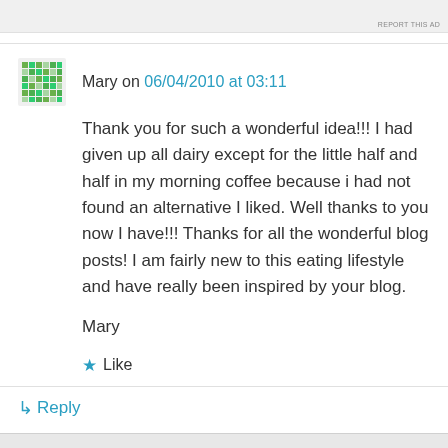[Figure (other): Top image bar with partial images and 'REPORT THIS AD' text]
Mary on 06/04/2010 at 03:11
Thank you for such a wonderful idea!!! I had given up all dairy except for the little half and half in my morning coffee because i had not found an alternative I liked. Well thanks to you now I have!!! Thanks for all the wonderful blog posts! I am fairly new to this eating lifestyle and have really been inspired by your blog.

Mary
★ Like
↳ Reply